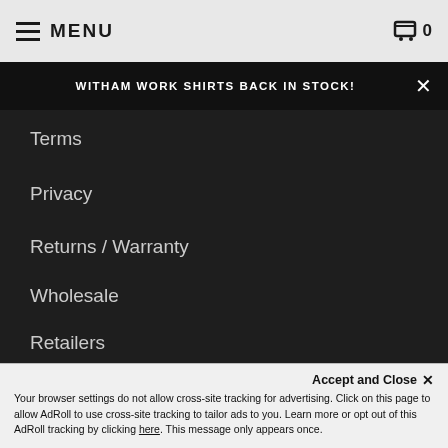≡ MENU  🛒 0
WITHAM WORK SHIRTS BACK IN STOCK!
Terms
Privacy
Returns / Warranty
Wholesale
Retailers
Shipping
QUALITY GOODS MADE IN THE USA!
[Figure (logo): White leaf/plant logo icon]
Accept and Close ✕
Your browser settings do not allow cross-site tracking for advertising. Click on this page to allow AdRoll to use cross-site tracking to tailor ads to you. Learn more or opt out of this AdRoll tracking by clicking here. This message only appears once.